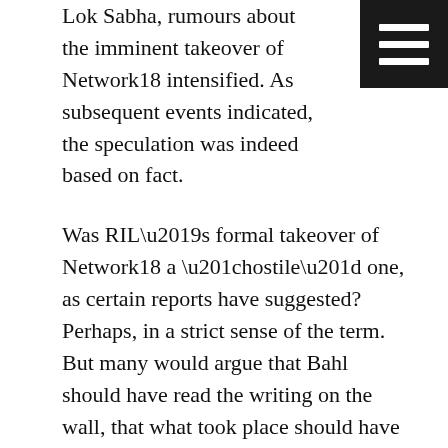Lok Sabha, rumours about the imminent takeover of Network18 intensified. As subsequent events indicated, the speculation was indeed based on fact.
Was RIL’s formal takeover of Network18 a “hostile” one, as certain reports have suggested? Perhaps, in a strict sense of the term. But many would argue that Bahl should have read the writing on the wall, that what took place should have been anticipated by him.
As for the Independent Media Trust, its existence is now truly redundant in the new scheme of things. As an editorial in the thehoot.org website, which tracks the media, put it on 31 May: “Whoever thought up the name had a delicious sense of irony”.
For, from now onwards, a large section of the media in India could well be perceived to be a little less independent or, for that matter, trustworthy.